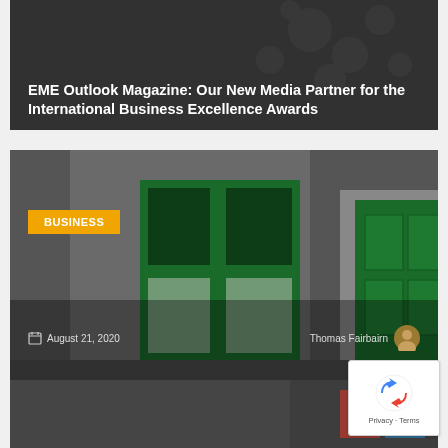[Figure (screenshot): Top article card (partially visible) with dark background, white bold title text about EME Outlook Magazine as New Media Partner for the International Business Excellence Awards]
EME Outlook Magazine: Our New Media Partner for the International Business Excellence Awards
[Figure (photo): Middle article card showing building facade with green windows and door on dark grey background, with BUSINESS badge, date August 21 2020, author Thomas Fairbairn with avatar]
Gulf Property: New Media Partner for the International Business Excellence Awards
[Figure (screenshot): reCAPTCHA widget overlay in bottom right corner with Privacy and Terms links]
[Figure (screenshot): Third article card (partially visible) at bottom of page with dark background]